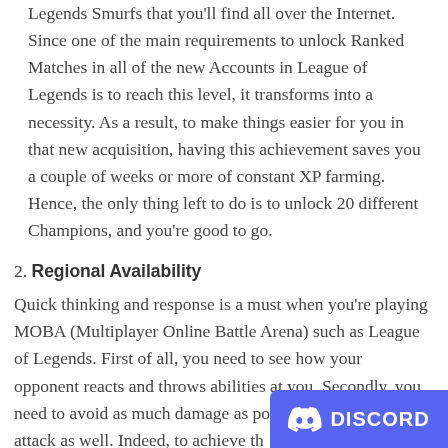Legends Smurfs that you'll find all over the Internet. Since one of the main requirements to unlock Ranked Matches in all of the new Accounts in League of Legends is to reach this level, it transforms into a necessity. As a result, to make things easier for you in that new acquisition, having this achievement saves you a couple of weeks or more of constant XP farming. Hence, the only thing left to do is to unlock 20 different Champions, and you're good to go.
2. Regional Availability
Quick thinking and response is a must when you're playing MOBA (Multiplayer Online Battle Arena) such as League of Legends. First of all, you need to see how your opponent reacts and throws abilities at you. Secondly, you need to avoid as much damage as possible and counter-attack as well. Indeed, to achieve th
[Figure (logo): Discord badge/button in bottom right corner with Discord logo and text 'DISCORD' on blue background]